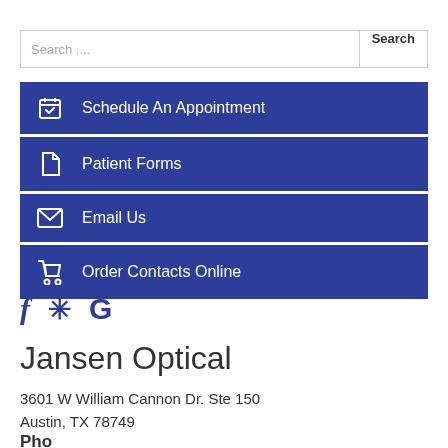Search ....
Schedule An Appointment
Patient Forms
Email Us
Order Contacts Online
[Figure (logo): Social media icons: Facebook (f), Yelp (asterisk/star), Google (G)]
Jansen Optical
3601 W William Cannon Dr. Ste 150
Austin, TX 78749
Phone